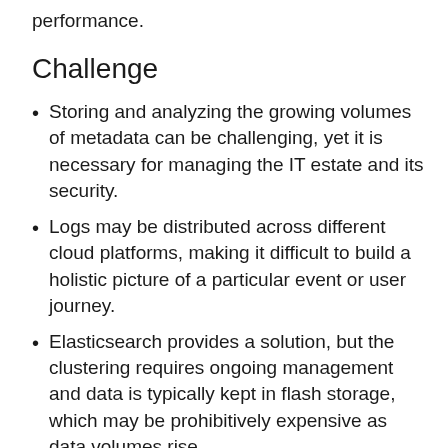performance.
Challenge
Storing and analyzing the growing volumes of metadata can be challenging, yet it is necessary for managing the IT estate and its security.
Logs may be distributed across different cloud platforms, making it difficult to build a holistic picture of a particular event or user journey.
Elasticsearch provides a solution, but the clustering requires ongoing management and data is typically kept in flash storage, which may be prohibitively expensive as data volumes rise.